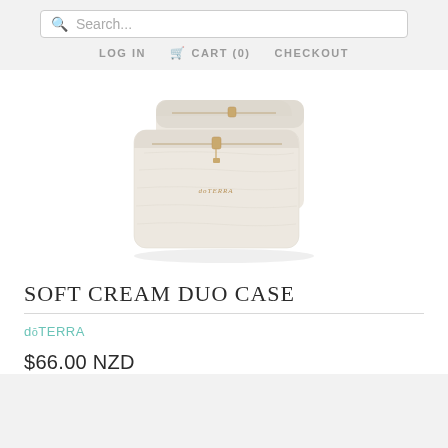Search... LOG IN  CART (0)  CHECKOUT
[Figure (photo): A cream/white leather duo cosmetic bag with gold zipper hardware and a doTERRA logo embossed in gold on the front, shown from a slightly elevated angle against a white background.]
SOFT CREAM DUO CASE
dōTERRA
$66.00 NZD